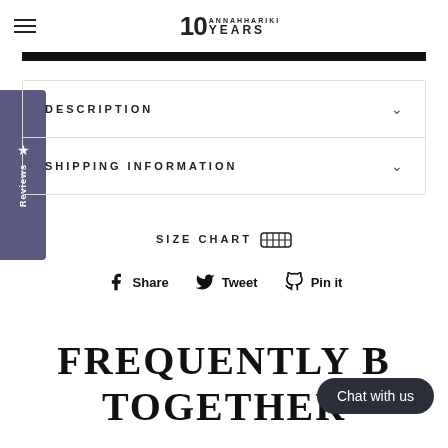10 ANNAHHARIKI YEARS — navigation bar with hamburger menu, logo, search and cart icons
DESCRIPTION
SHIPPING INFORMATION
SIZE CHART
Share   Tweet   Pin it
FREQUENTLY BOUGHT TOGETHER